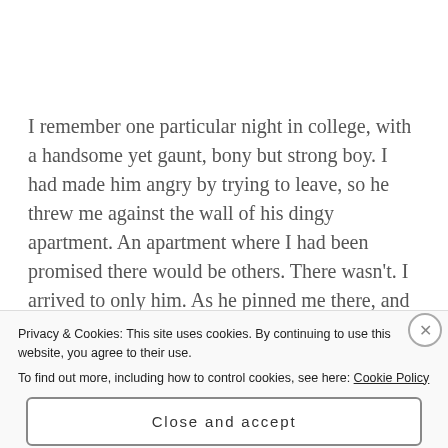I remember one particular night in college, with a handsome yet gaunt, bony but strong boy. I had made him angry by trying to leave, so he threw me against the wall of his dingy apartment. An apartment where I had been promised there would be others. There wasn't. I arrived to only him. As he pinned me there, and I stared at the floor cloaked in
Privacy & Cookies: This site uses cookies. By continuing to use this website, you agree to their use.
To find out more, including how to control cookies, see here: Cookie Policy
Close and accept